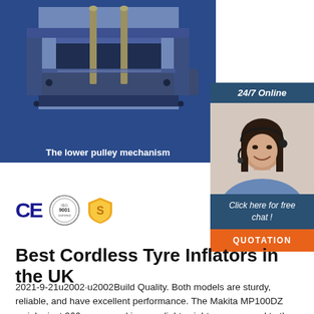[Figure (photo): Photo of a blue lower pulley mechanism, a metal bracket device with vertical rods. Blue background. Caption bar reads 'The lower pulley mechanism'.]
[Figure (infographic): Customer service chat widget showing a woman with headset, '24/7 Online' header, 'Click here for free chat!' text, and an orange 'QUOTATION' button.]
[Figure (logo): CE mark logo, ISO 9001 certification seal, and a gold shield/badge icon with letter S.]
Best Cordless Tyre Inflators in the UK
2021-9-21u2002·u2002Build Quality. Both models are sturdy, reliable, and have excellent performance. The Makita MP100DZ weighs just 966 grams and is more lightweight as compared to the Ryobi R18I-0, which is